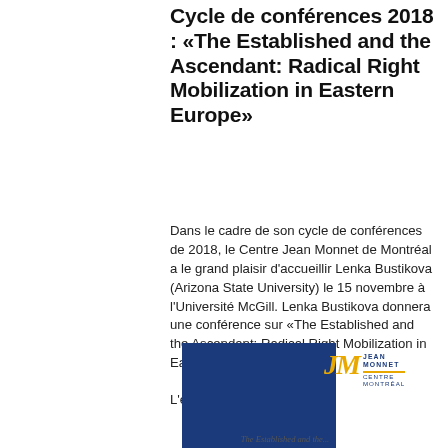Cycle de conférences 2018 : «The Established and the Ascendant: Radical Right Mobilization in Eastern Europe»
Dans le cadre de son cycle de conférences de 2018, le Centre Jean Monnet de Montréal a le grand plaisir d'accueillir Lenka Bustikova (Arizona State University) le 15 novembre à l'Université McGill. Lenka Bustikova donnera une conférence sur «The Established and the Ascendant: Radical Right Mobilization in Eastern Europe».
L'entrée est gratuite.
[Figure (illustration): Dark blue rectangle (book cover or event poster tile) at bottom left]
[Figure (logo): Jean Monnet Centre Montréal logo — JM in gold italic letters with blue text block and gold underline]
The Established and the...